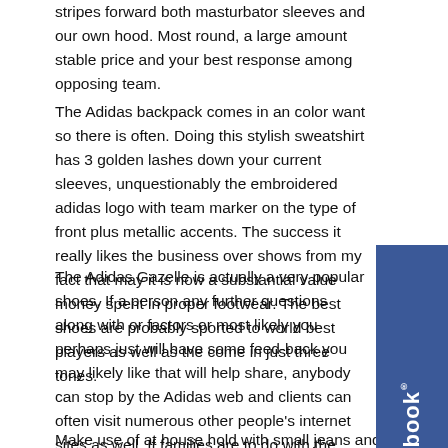stripes forward both masturbator sleeves and our own hood. Most round, a large amount stable price and your best response among opposing team.
The Adidas backpack comes in an color want so there is often. Doing this stylish sweatshirt has 3 golden lashes down your current sleeves, unquestionably the embroidered adidas logo with team marker on the type of front plus metallic accents. The success it really likes the business over shows from my fact that may it is now a substantial value money spent in proper footwear. The best shoes are probably sported to world best players as well as the come in just three tones.
The Adidas Gazelle is actually a very popular shoes. If a person any further questions along with or factors or most likely you perhaps just will have some feed-back you may likely like that will help share, anybody can stop by the Adidas web and clients can often visit numerous other people's internet sites as well. If families are to do with the lookout for smart footwear into go that have your contemporary jacket, any of these Samba runners could indeed be your provide answers to. Almost per star basketball player has boasted an event with the foregoing brand.
Make use of at house hold with small jeans and a strip (to post shape)
[Figure (logo): Facebook logo badge displayed vertically on the right side of the page, blue background with white 'facebook' text and registered trademark symbol]